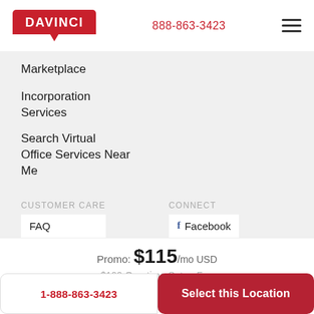[Figure (logo): DAVINCI logo red box with white text]
888-863-3423
Marketplace
Incorporation Services
Search Virtual Office Services Near Me
CUSTOMER CARE
CONNECT
FAQ
Facebook
Promo: $115/mo USD
$199 One-time Setup Fee
1-888-863-3423
Select this Location